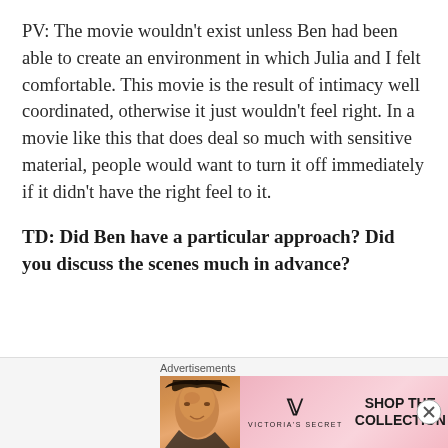PV: The movie wouldn't exist unless Ben had been able to create an environment in which Julia and I felt comfortable. This movie is the result of intimacy well coordinated, otherwise it just wouldn't feel right. In a movie like this that does deal so much with sensitive material, people would want to turn it off immediately if it didn't have the right feel to it.
TD: Did Ben have a particular approach? Did you discuss the scenes much in advance?
[Figure (other): Victoria's Secret advertisement banner with a model, VS logo, 'SHOP THE COLLECTION' text, and 'SHOP NOW' button]